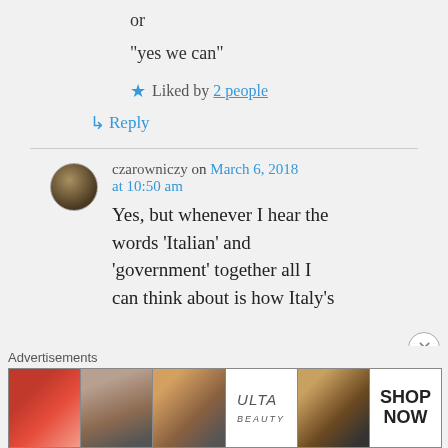or
“yes we can”
★ Liked by 2 people
↳ Reply
czarowniczy on March 6, 2018 at 10:50 am
Yes, but whenever I hear the words ‘Italian’ and ‘government’ together all I can think about is how Italy’s
Advertisements
[Figure (photo): Advertisements banner showing beauty/makeup images and ULTA logo with SHOP NOW text]